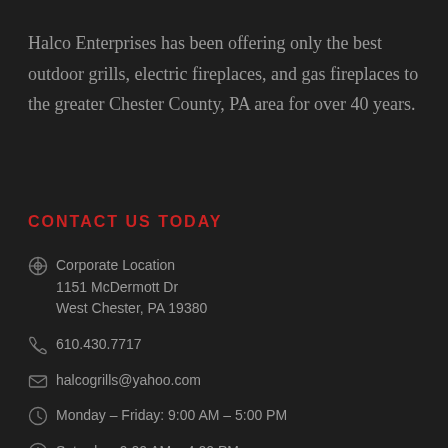Halco Enterprises has been offering only the best outdoor grills, electric fireplaces, and gas fireplaces to the greater Chester County, PA area for over 40 years.
CONTACT US TODAY
Corporate Location
1151 McDermott Dr
West Chester, PA 19380
610.430.7717
halcogrills@yahoo.com
Monday – Friday: 9:00 AM – 5:00 PM
Saturday: 9:00 AM – 4:00 PM